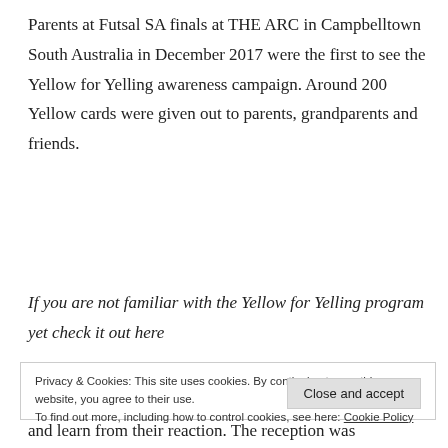Parents at Futsal SA finals at THE ARC in Campbelltown South Australia in December 2017 were the first to see the Yellow for Yelling awareness campaign. Around 200 Yellow cards were given out to parents, grandparents and friends.
If you are not familiar with the Yellow for Yelling program yet check it out here
Privacy & Cookies: This site uses cookies. By continuing to use this website, you agree to their use. To find out more, including how to control cookies, see here: Cookie Policy
and learn from their reaction. The reception was